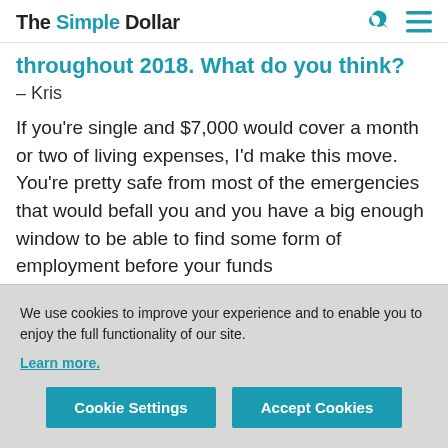The Simple Dollar
throughout 2018. What do you think?
– Kris
If you're single and $7,000 would cover a month or two of living expenses, I'd make this move. You're pretty safe from most of the emergencies that would befall you and you have a big enough window to be able to find some form of employment before your funds
We use cookies to improve your experience and to enable you to enjoy the full functionality of our site.
Learn more.